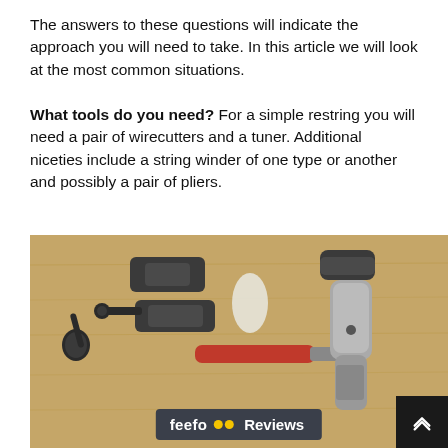The answers to these questions will indicate the approach you will need to take. In this article we will look at the most common situations.

What tools do you need? For a simple restring you will need a pair of wirecutters and a tuner. Additional niceties include a string winder of one type or another and possibly a pair of pliers.
[Figure (photo): Photo of guitar restringing tools on a wooden surface: a string winder, wirecutters, a red screwdriver, and a power drill/screwdriver. A Feefo reviews badge overlay is visible at the bottom.]